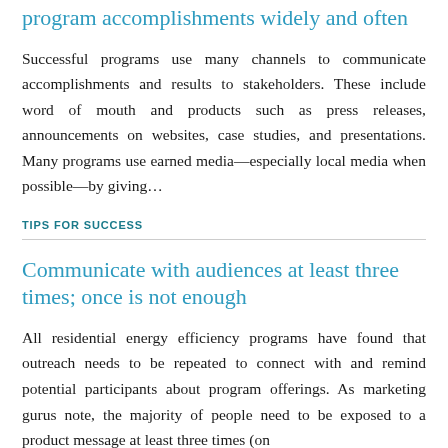program accomplishments widely and often
Successful programs use many channels to communicate accomplishments and results to stakeholders. These include word of mouth and products such as press releases, announcements on websites, case studies, and presentations. Many programs use earned media—especially local media when possible—by giving…
TIPS FOR SUCCESS
Communicate with audiences at least three times; once is not enough
All residential energy efficiency programs have found that outreach needs to be repeated to connect with and remind potential participants about program offerings. As marketing gurus note, the majority of people need to be exposed to a product message at least three times (on